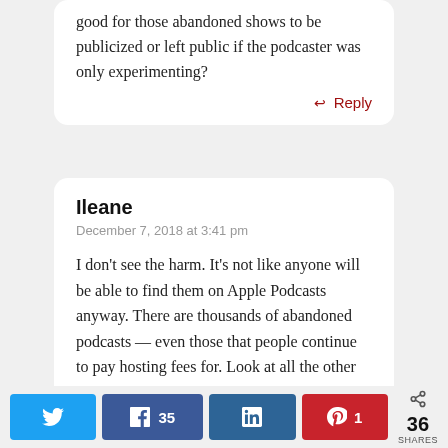good for those abandoned shows to be publicized or left public if the podcaster was only experimenting?
↩ Reply
Ileane
December 7, 2018 at 3:41 pm
I don't see the harm. It's not like anyone will be able to find them on Apple Podcasts anyway. There are thousands of abandoned podcasts — even those that people continue to pay hosting fees for. Look at all the other mediums that have